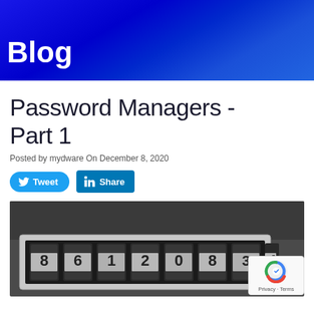Blog
Password Managers - Part 1
Posted by mydware On December 8, 2020
[Figure (screenshot): Social sharing buttons: Tweet (Twitter) and Share (LinkedIn)]
[Figure (photo): Black and white photo of a combination lock with numbered dials showing digits 8, 6, 1, 2, 0, 8, 3, 4]